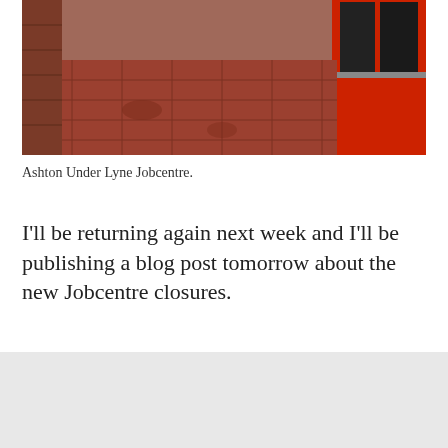[Figure (photo): Photo of the tiled entrance floor area of Ashton Under Lyne Jobcentre, showing red/brown brick and grey tile flooring with red metal door frame and dark mesh windows visible.]
Ashton Under Lyne Jobcentre.
I'll be returning again next week and I'll be publishing a blog post tomorrow about the new Jobcentre closures.
Advertisements
[Figure (screenshot): DuckDuckGo advertisement banner with orange background. Text reads: Search, browse, and email with more privacy. All in One Free App. Shows DuckDuckGo logo and phone image.]